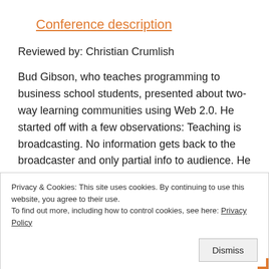Conference description
Reviewed by: Christian Crumlish
Bud Gibson, who teaches programming to business school students, presented about two-way learning communities using Web 2.0. He started off with a few observations: Teaching is broadcasting. No information gets back to the broadcaster and only partial info to audience. He hypothesized that collaboration would yield richer information for
Privacy & Cookies: This site uses cookies. By continuing to use this website, you agree to their use.
To find out more, including how to control cookies, see here: Privacy Policy
Dismiss